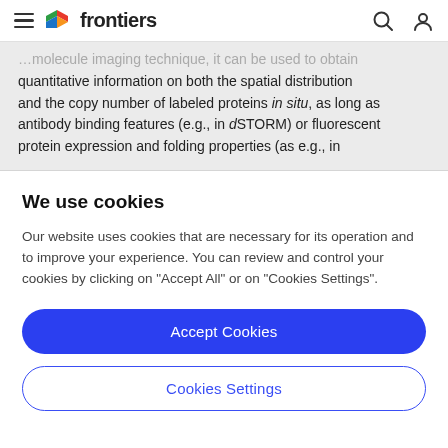frontiers
…molecule imaging technique, it can be used to obtain quantitative information on both the spatial distribution and the copy number of labeled proteins in situ, as long as antibody binding features (e.g., in dSTORM) or fluorescent protein expression and folding properties (as e.g., in
We use cookies
Our website uses cookies that are necessary for its operation and to improve your experience. You can review and control your cookies by clicking on "Accept All" or on "Cookies Settings".
Accept Cookies
Cookies Settings